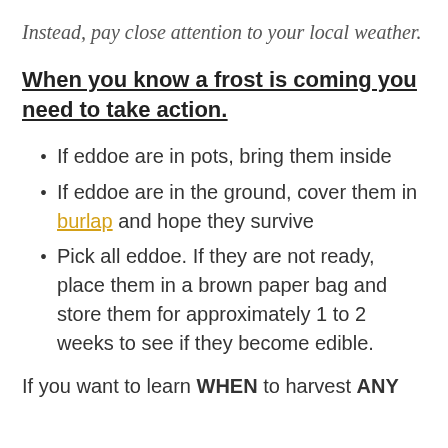Instead, pay close attention to your local weather.
When you know a frost is coming you need to take action.
If eddoe are in pots, bring them inside
If eddoe are in the ground, cover them in burlap and hope they survive
Pick all eddoe. If they are not ready, place them in a brown paper bag and store them for approximately 1 to 2 weeks to see if they become edible.
If you want to learn WHEN to harvest ANY